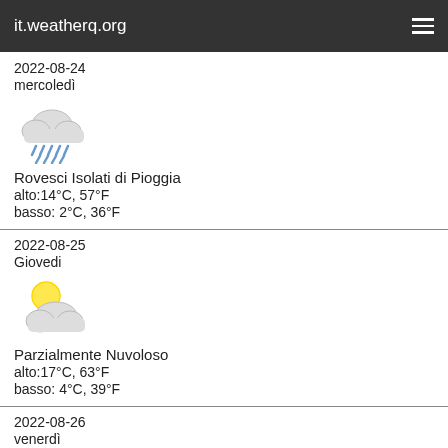it.weatherq.org
2022-08-24
mercoledì
Rovesci Isolati di Pioggia
alto:14°C,  57°F
basso: 2°C,  36°F
2022-08-25
Giovedi
Parzialmente Nuvoloso
alto:17°C,  63°F
basso: 4°C,  39°F
2022-08-26
venerdì
Nuvoloso